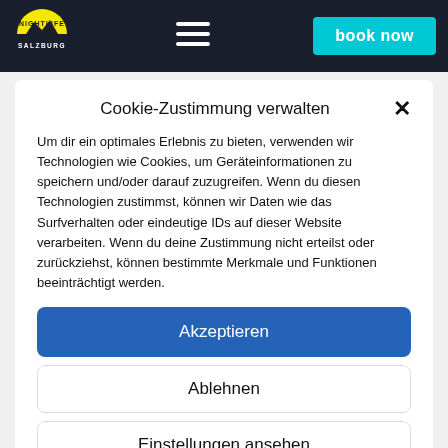[Figure (logo): Nightlife Salzburg logo — circular dark badge with yellow arc and text]
[Figure (other): Hamburger menu icon (three horizontal white lines)]
book now
Cookie-Zustimmung verwalten
Um dir ein optimales Erlebnis zu bieten, verwenden wir Technologien wie Cookies, um Geräteinformationen zu speichern und/oder darauf zuzugreifen. Wenn du diesen Technologien zustimmst, können wir Daten wie das Surfverhalten oder eindeutige IDs auf dieser Website verarbeiten. Wenn du deine Zustimmung nicht erteilst oder zurückziehst, können bestimmte Merkmale und Funktionen beeinträchtigt werden.
Akzeptieren
Ablehnen
Einstellungen ansehen
Cookie-Richtlinie   Datenschutzerklärung